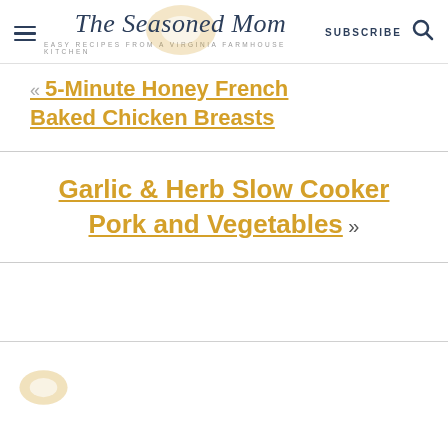The Seasoned Mom — Easy Recipes from a Virginia Farmhouse Kitchen
« 5-Minute Honey French Baked Chicken Breasts
Garlic & Herb Slow Cooker Pork and Vegetables »